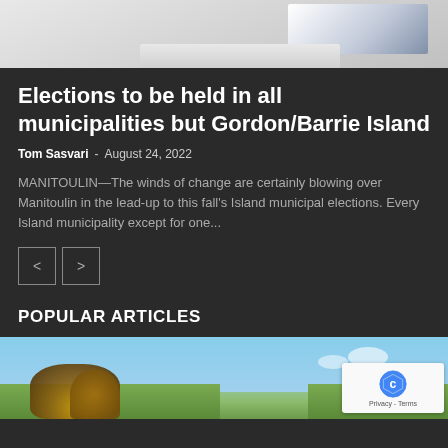[Figure (photo): Top portion of a photo showing what appears to be a desk or table surface with a blue object in the upper right corner, light grey tones]
Elections to be held in all municipalities but Gordon/Barrie Island
Tom Sasvari  -  August 24, 2022
MANITOULIN—The winds of change are certainly blowing over Manitoulin in the lead-up to this fall's Island municipal elections. Every Island municipality except for one...
[Figure (other): Navigation buttons with left and right arrows]
POPULAR ARTICLES
[Figure (photo): Outdoor photo showing a sculpture or artwork against a blue sky with clouds, with orange/brown tones at the bottom. A reCAPTCHA badge appears in the lower right.]